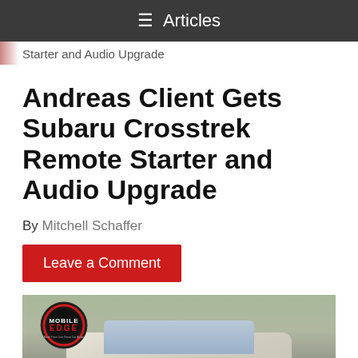Articles
Starter and Audio Upgrade
Andreas Client Gets Subaru Crosstrek Remote Starter and Audio Upgrade
By Mitchell Schaffer
Leave a Comment
[Figure (photo): Photo of a Subaru Crosstrek vehicle parked in a lot, front view, with Mobile Edge logo overlay in top-left corner and a chat button in the bottom-right corner.]